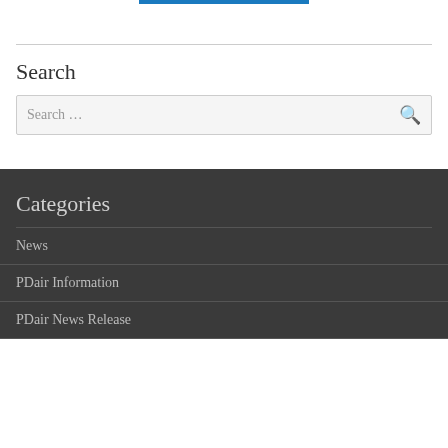[Figure (other): Blue horizontal bar at the top center of the page, part of a website navigation or header element]
Search
[Figure (other): Search input box with placeholder text 'Search ...' and a magnifying glass icon on the right]
Categories
News
PDair Information
PDair News Release